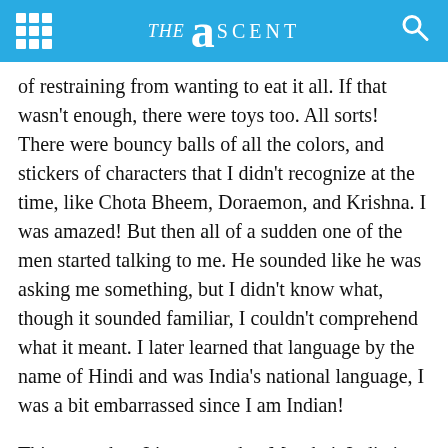THE ASCENT
of restraining from wanting to eat it all. If that wasn't enough, there were toys too. All sorts! There were bouncy balls of all the colors, and stickers of characters that I didn't recognize at the time, like Chota Bheem, Doraemon, and Krishna. I was amazed! But then all of a sudden one of the men started talking to me. He sounded like he was asking me something, but I didn't know what, though it sounded familiar, I couldn't comprehend what it meant. I later learned that language by the name of Hindi and was India's national language, I was a bit embarrassed since I am Indian!
This was when I just moved to Mumbai, India just under four years ago. I was 9 at the time. You see, I was born and brought up in Hong Kong, and I was still new to the way India worked. Born Indian but I was a bit clueless